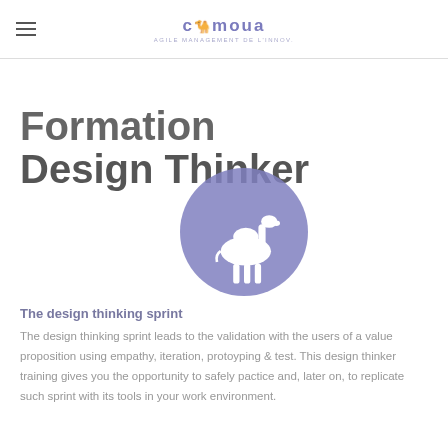camoua
Formation Design Thinker
[Figure (logo): Purple circle with white camel silhouette logo]
The design thinking sprint
The design thinking sprint leads to the validation with the users of a value proposition using empathy, iteration, protoyping & test. This design thinker training gives you the opportunity to safely pactice and, later on, to replicate such sprint with its tools in your work environment.